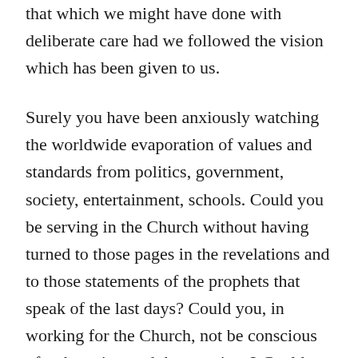that which we might have done with deliberate care had we followed the vision which has been given to us.
Surely you have been anxiously watching the worldwide evaporation of values and standards from politics, government, society, entertainment, schools. Could you be serving in the Church without having turned to those pages in the revelations and to those statements of the prophets that speak of the last days? Could you, in working for the Church, not be conscious of or have ignored the warnings? Could you be blind to the drift that is taking place? Are you not